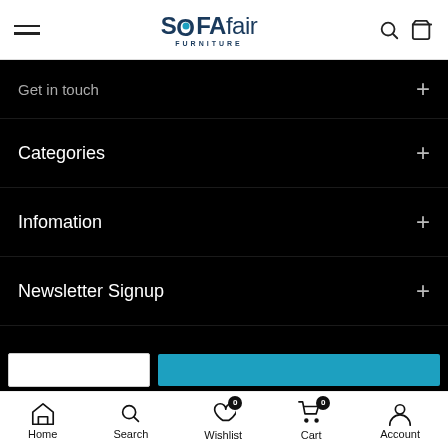SOFAfair FURNITURE
Get in touch
Categories
Infomation
Newsletter Signup
Copyright © 2022 sofafair.com all rights reserved.
Home  Search  Wishlist  Cart  Account